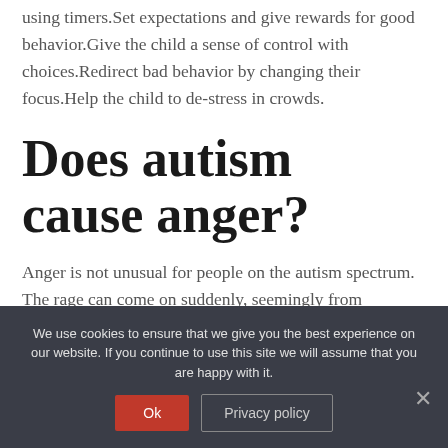using timers.Set expectations and give rewards for good behavior.Give the child a sense of control with choices.Redirect bad behavior by changing their focus.Help the child to de-stress in crowds.
Does autism cause anger?
Anger is not unusual for people on the autism spectrum. The rage can come on suddenly, seemingly from nowhere, and then vanish just as
We use cookies to ensure that we give you the best experience on our website. If you continue to use this site we will assume that you are happy with it.